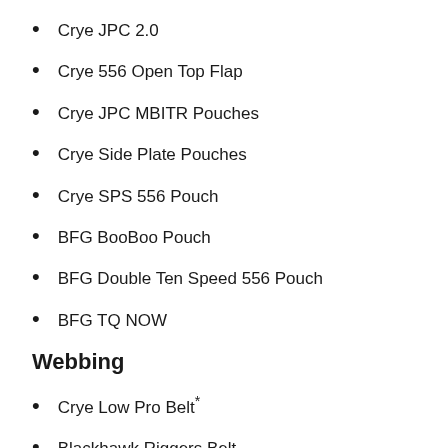Crye JPC 2.0
Crye 556 Open Top Flap
Crye JPC MBITR Pouches
Crye Side Plate Pouches
Crye SPS 556 Pouch
BFG BooBoo Pouch
BFG Double Ten Speed 556 Pouch
BFG TQ NOW
Webbing
Crye Low Pro Belt*
Blackhawk Riggers Belt